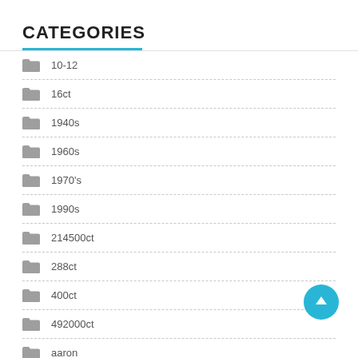CATEGORIES
10-12
16ct
1940s
1960s
1970's
1990s
214500ct
288ct
400ct
492000ct
aaron